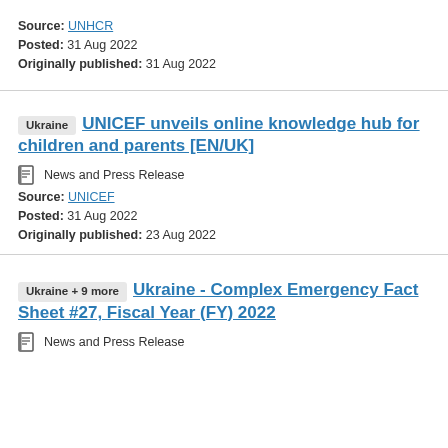Source: UNHCR
Posted: 31 Aug 2022
Originally published: 31 Aug 2022
UNICEF unveils online knowledge hub for children and parents [EN/UK]
News and Press Release
Source: UNICEF
Posted: 31 Aug 2022
Originally published: 23 Aug 2022
Ukraine - Complex Emergency Fact Sheet #27, Fiscal Year (FY) 2022